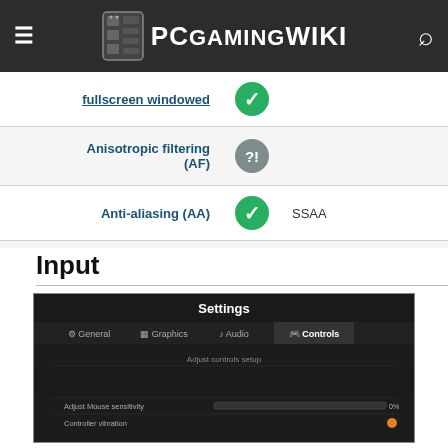PCGamingWiki
| Feature | Status | Notes |
| --- | --- | --- |
| fullscreen windowed | yes |  |
| Anisotropic filtering (AF) | unknown |  |
| Anti-aliasing (AA) | yes | SSAA |
| Vertical sync (Vsync) | yes |  |
| 60 FPS and 120+ FPS | yes |  |
| High dynamic range display (HDR) | unknown |  |
Input
[Figure (screenshot): In-game Settings screen showing Controls tab with options for mouse sensitivity and controller vibration]